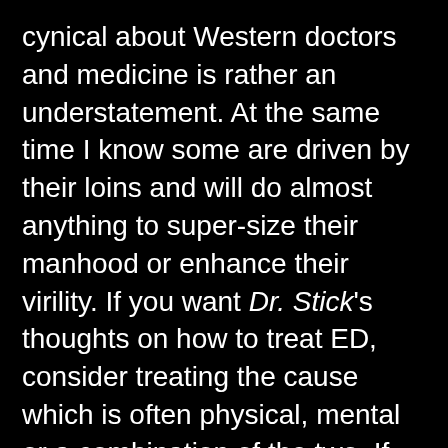cynical about Western doctors and medicine is rather an understatement. At the same time I know some are driven by their loins and will do almost anything to super-size their manhood or enhance their virility. If you want Dr. Stick's thoughts on how to treat ED, consider treating the cause which is often physical, mental or a combination of the two. If physical, it is usually related to one's general health and diet. Losing weight / getting fit / eating well will not only improve your general health, but get fit and getting an erection shouldn't be a problem. If the issue is mental, a hypnotherapist can help – a Bangkok-based American registered hypnotherapist specialises in this.
On the subject of health and fitness, I hadn't been